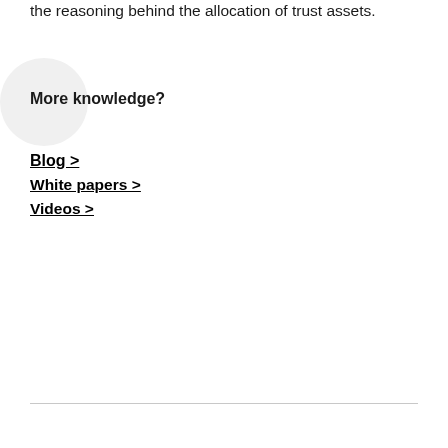the reasoning behind the allocation of trust assets.
More knowledge?
Blog >
White papers >
Videos >